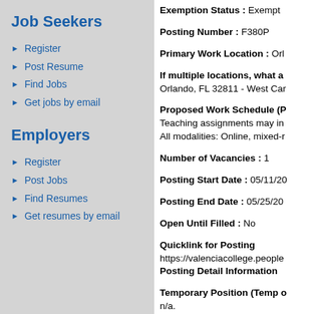Job Seekers
Register
Post Resume
Find Jobs
Get jobs by email
Employers
Register
Post Jobs
Find Resumes
Get resumes by email
Exemption Status : Exempt
Posting Number : F380P
Primary Work Location : Orl
If multiple locations, what a Orlando, FL 32811 - West Car
Proposed Work Schedule (P Teaching assignments may in All modalities: Online, mixed-r
Number of Vacancies : 1
Posting Start Date : 05/11/20
Posting End Date : 05/25/20
Open Until Filled : No
Quicklink for Posting https://valenciacollege.people
Posting Detail Information
Temporary Position (Temp o n/a.